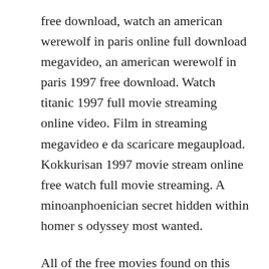free download, watch an american werewolf in paris online full download megavideo, an american werewolf in paris 1997 free download. Watch titanic 1997 full movie streaming online video. Film in streaming megavideo e da scaricare megaupload. Kokkurisan 1997 movie stream online free watch full movie streaming. A minoanphoenician secret hidden within homer s odyssey most wanted.
All of the free movies found on this website are hosted on thirdparty servers such as